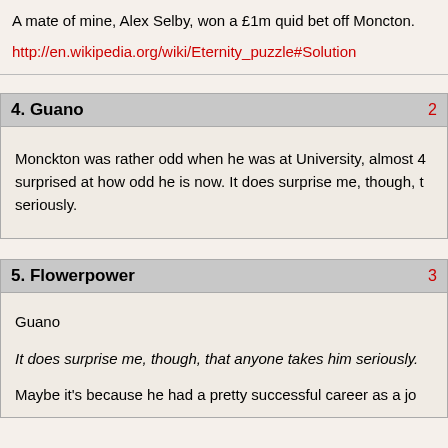A mate of mine, Alex Selby, won a £1m quid bet off Moncton.
http://en.wikipedia.org/wiki/Eternity_puzzle#Solution
4. Guano
Monckton was rather odd when he was at University, almost 4 surprised at how odd he is now. It does surprise me, though, t seriously.
5. Flowerpower
Guano
It does surprise me, though, that anyone takes him seriously.
Maybe it's because he had a pretty successful career as a jo